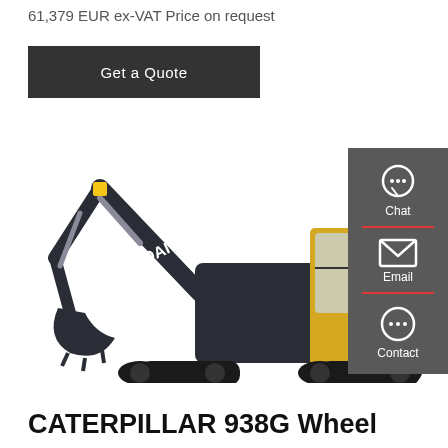61,379 EUR ex-VAT Price on request
Get a Quote
[Figure (photo): Hyundai tracked excavator (crawler excavator) shown in profile view, dark grey/black body with yellow cab accents, with HYUNDAI branding on the arm.]
Chat
Email
Contact
CATERPILLAR 938G Wheel